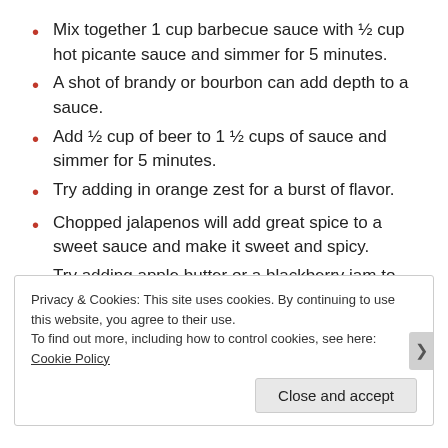Mix together 1 cup barbecue sauce with ½ cup hot picante sauce and simmer for 5 minutes.
A shot of brandy or bourbon can add depth to a sauce.
Add ½ cup of beer to 1 ½ cups of sauce and simmer for 5 minutes.
Try adding in orange zest for a burst of flavor.
Chopped jalapenos will add great spice to a sweet sauce and make it sweet and spicy.
Try adding apple butter or a blackberry jam to sauce to kick up the sweetness and add depth.
Privacy & Cookies: This site uses cookies. By continuing to use this website, you agree to their use.
To find out more, including how to control cookies, see here: Cookie Policy